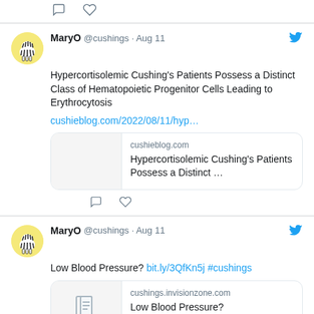[Figure (screenshot): Bottom portion of a previous tweet showing two action icons (comment and heart)]
MaryO @cushings · Aug 11
Hypercortisolemic Cushing's Patients Possess a Distinct Class of Hematopoietic Progenitor Cells Leading to Erythrocytosis
cushieblog.com/2022/08/11/hyp…
[Figure (screenshot): Link preview card: cushieblog.com — Hypercortisolemic Cushing's Patients Possess a Distinct …]
MaryO @cushings · Aug 11
Low Blood Pressure? bit.ly/3QfKn5j #cushings
[Figure (screenshot): Link preview card: cushings.invisionzone.com — Low Blood Pressure?]